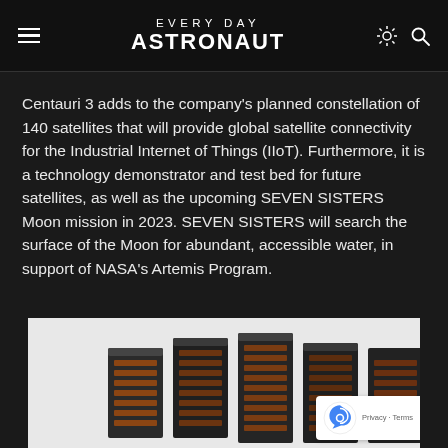EVERYDAY ASTRONAUT
Centauri 3 adds to the company's planned constellation of 140 satellites that will provide global satellite connectivity for the Industrial Internet of Things (IIoT). Furthermore, it is a technology demonstrator and test bed for future satellites, as well as the upcoming SEVEN SISTERS Moon mission in 2023. SEVEN SISTERS will search the surface of the Moon for abundant, accessible water, in support of NASA's Artemis Program.
[Figure (photo): Photo of Centauri 3 satellite hardware, multiple rectangular black panels with copper/brown solar panel elements, shown against a white background]